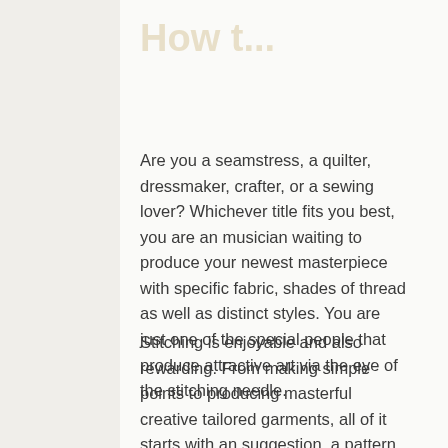How t...
Are you a seamstress, a quilter, dressmaker, crafter, or a sewing lover? Whichever title fits you best, you are an musician waiting to produce your newest masterpiece with specific fabric, shades of thread as well as distinct styles. You are just one of the special people that produce attractive art via the eye of the stitching needle.
Stitching is enjoyable and also rewarding. From making simple points to producing masterful creative tailored garments, all of it starts with an suggestion, a pattern,